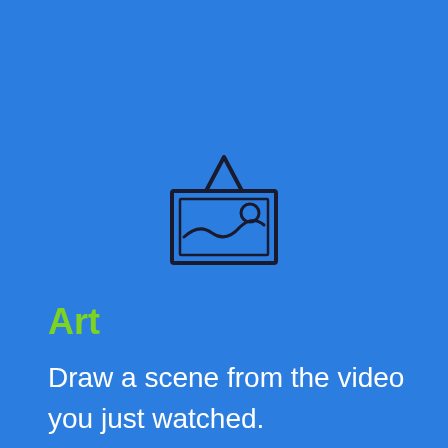[Figure (illustration): Line art icon of a framed picture/painting hanging on a wall, with a triangle hanger at the top, a wavy landscape line and a circle (sun) inside the frame, drawn in dark navy/black strokes on blue background.]
Art
Draw a scene from the video you just watched.